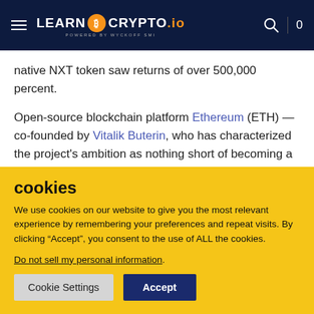LEARN CRYPTO.io POWERED BY WYCKOFF SMI
native NXT token saw returns of over 500,000 percent.
Open-source blockchain platform Ethereum (ETH) — co-founded by Vitalik Buterin, who has characterized the project's ambition as nothing short of becoming a "world computer" — ranks third, after bringing over 141,000 percent returns to its
cookies
We use cookies on our website to give you the most relevant experience by remembering your preferences and repeat visits. By clicking “Accept”, you consent to the use of ALL the cookies.
Do not sell my personal information.
Cookie Settings   Accept